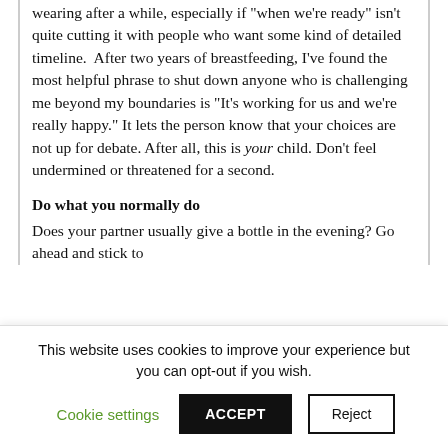wearing after a while, especially if "when we're ready" isn't quite cutting it with people who want some kind of detailed timeline.  After two years of breastfeeding, I've found the most helpful phrase to shut down anyone who is challenging me beyond my boundaries is "It's working for us and we're really happy." It lets the person know that your choices are not up for debate. After all, this is your child. Don't feel undermined or threatened for a second.
Do what you normally do
Does your partner usually give a bottle in the evening? Go ahead and stick to
This website uses cookies to improve your experience but you can opt-out if you wish.
Cookie settings   ACCEPT   Reject